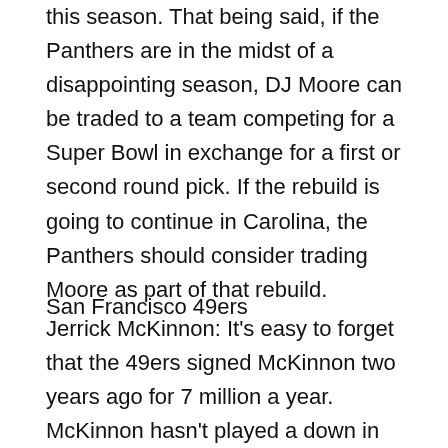this season. That being said, if the Panthers are in the midst of a disappointing season, DJ Moore can be traded to a team competing for a Super Bowl in exchange for a first or second round pick. If the rebuild is going to continue in Carolina, the Panthers should consider trading Moore as part of that rebuild.
San Francisco 49ers
Jerrick McKinnon: It's easy to forget that the 49ers signed McKinnon two years ago for 7 million a year. McKinnon hasn't played a down in San Francisco as he has been injured each of the past two seasons. The 49ers have one of the deepest running back units and have shown from this past season that they don't need Jerrick McKinnon to reach the Super